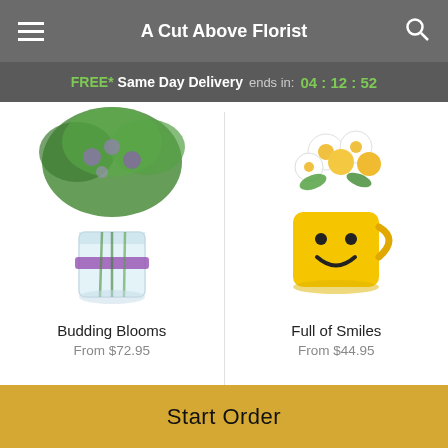A Cut Above Florist
FREE* Same Day Delivery ends in: 04:12:52
[Figure (photo): Photo of Budding Blooms flower arrangement in a glass vase with purple ribbon and green foliage]
Budding Blooms
From $72.95
[Figure (photo): Photo of Full of Smiles flower arrangement in a yellow smiley face mug with daisies and yellow roses]
Full of Smiles
From $44.95
[Figure (logo): Lovingly logo with pink heart/book icon and text: POWERED BY lovingly]
Start Order